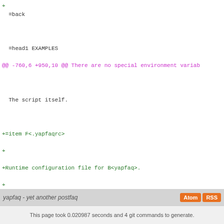+ =back

 =head1 EXAMPLES
@@ -760,6 +950,10 @@ There are no special environment variab

 The script itself.

+=item F<.yapfaqrc>
+
+Runtime configuration file for B<yapfaq>.
+
 =item F<yapfaq.cfg>

 Configuration file for B<yapfaq>.
@@ -788,10 +982,9 @@ version of this program.

 Thomas Hochstein <thh@inter.net>

-Original author (until version 0.5b from 2003):
+Original author (up to version 0.5b, dating from 2003):
 Marc Brockschmidt <marc@marcbrockschmidt.de>

-
 =head1 COPYRIGHT AND LICENSE

 Copyright (c) 2003 Marc Brockschmidt <marc@marcbrockschmidt
yapfaq - yet another postfaq
This page took 0.020987 seconds and 4 git commands to generate.